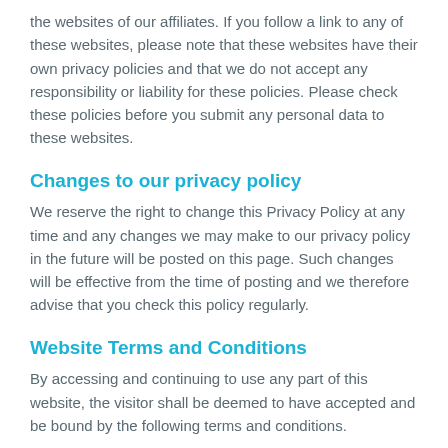the websites of our affiliates. If you follow a link to any of these websites, please note that these websites have their own privacy policies and that we do not accept any responsibility or liability for these policies. Please check these policies before you submit any personal data to these websites.
Changes to our privacy policy
We reserve the right to change this Privacy Policy at any time and any changes we may make to our privacy policy in the future will be posted on this page. Such changes will be effective from the time of posting and we therefore advise that you check this policy regularly.
Website Terms and Conditions
By accessing and continuing to use any part of this website, the visitor shall be deemed to have accepted and be bound by the following terms and conditions.